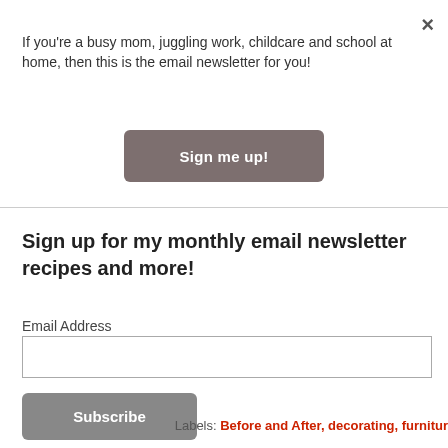×
If you're a busy mom, juggling work, childcare and school at home, then this is the email newsletter for you!
Sign me up!
Sign up for my monthly email newsletter recipes and more!
Email Address
Subscribe
Labels: Before and After, decorating, furnitur…